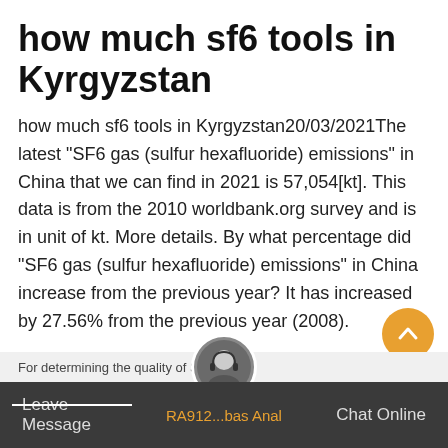how much sf6 tools in Kyrgyzstan
how much sf6 tools in Kyrgyzstan20/03/2021The latest "SF6 gas (sulfur hexafluoride) emissions" in China that we can find in 2021 is 57,054[kt]. This data is from the 2010 worldbank.org survey and is in unit of kt. More details. By what percentage did "SF6 gas (sulfur hexafluoride) emissions" in China increase from the previous year? It has increased by 27.56% from the previous year (2008).
[Figure (other): Orange 'Get Price' button]
Hot Product
[Figure (other): Back to top orange circular button with upward chevron]
Leave Message  RA912...bas Anal  Chat Online